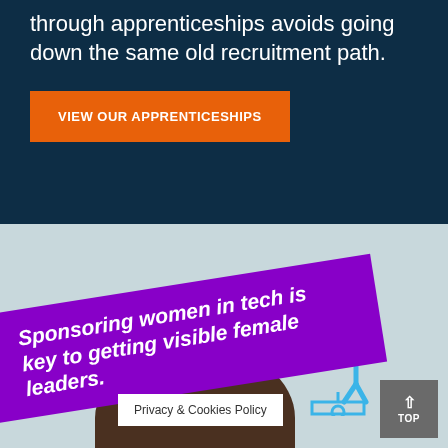through apprenticeships avoids going down the same old recruitment path.
VIEW OUR APPRENTICESHIPS
[Figure (illustration): Light blue/grey background section with a photo of a person's hand holding a phone partially visible, a blue speaker/presenter figure icon, a rotated purple banner with bold italic white text reading 'Sponsoring women in tech is key to getting visible female leaders.', a white cookie policy notice reading 'Privacy & Cookies Policy', and a grey TOP navigation button.]
Privacy & Cookies Policy
TOP